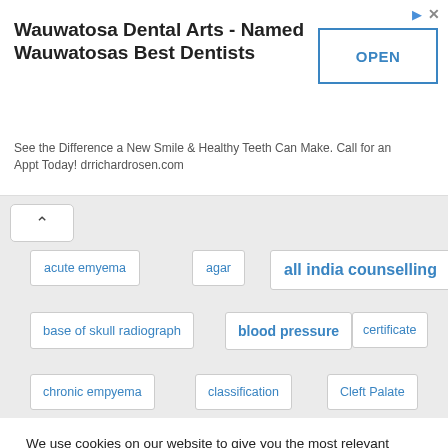[Figure (screenshot): Advertisement banner for Wauwatosa Dental Arts with title, subtitle, and OPEN button]
Wauwatosa Dental Arts - Named Wauwatosas Best Dentists
See the Difference a New Smile & Healthy Teeth Can Make. Call for an Appt Today! drrichardrosen.com
acute emyema
agar
all india counselling
base of skull radiograph
blood pressure
certificate
chronic empyema
classification
Cleft Palate
We use cookies on our website to give you the most relevant experience by remembering your preferences and repeat visits. By clicking “Accept”, you consent to the use of ALL the cookies.
Do not sell my personal information.